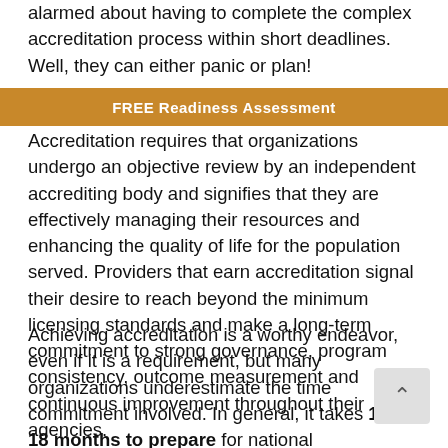alarmed about having to complete the complex accreditation process within short deadlines. Well, they can either panic or plan!
[Figure (other): Golden/amber colored banner with text 'FREE Readiness Assessment' in white bold letters]
Accreditation requires that organizations undergo an objective review by an independent accrediting body and signifies that they are effectively managing their resources and enhancing the quality of life for the population served. Providers that earn accreditation signal their desire to reach beyond the minimum licensing standards and make a long-term commitment to strong governance, program consistency, outcome measurement and continuous improvement throughout their agencies.
Achieving accreditation is a worthy endeavor, even if it is a requirement, but many organizations underestimate the time commitment involved. In general, it takes 12 to 18 months to prepare for national accreditation – sometimes more, sometimes less, depending on the original state of readiness.